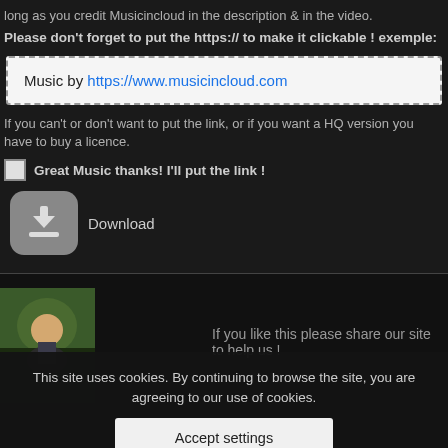long as you credit Musicincloud in the description & in the video.
Please don't forget to put the https:// to make it clickable ! exemple:
Music by https://www.musicincloud.com
If you can't or don't want to put the link, or if you want a HQ version you have to buy a licence.
Great Music thanks! I'll put the link !
Download
If you like this please share our site to help us !
This site uses cookies. By continuing to browse the site, you are agreeing to our use of cookies.
Accept settings